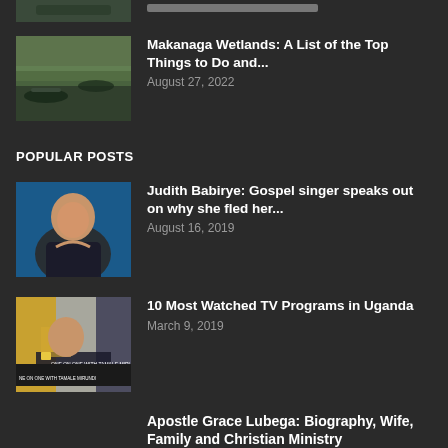[Figure (photo): Partial thumbnail of a wetlands/boat scene at top of page (cropped)]
[Figure (photo): Makanaga Wetlands thumbnail showing boats on water with green wetlands background]
Makanaga Wetlands: A List of the Top Things to Do and...
August 27, 2022
POPULAR POSTS
[Figure (photo): Judith Babirye gospel singer photo - woman in dark top against blue background]
Judith Babirye: Gospel singer speaks out on why she fled her...
August 16, 2019
[Figure (photo): TV program thumbnail showing man with yellow hat, text reads ONE ON ONE WITH TAMALE MIRUNDI]
10 Most Watched TV Programs in Uganda
March 9, 2019
Apostle Grace Lubega: Biography, Wife, Family and Christian Ministry
December 10, 2020